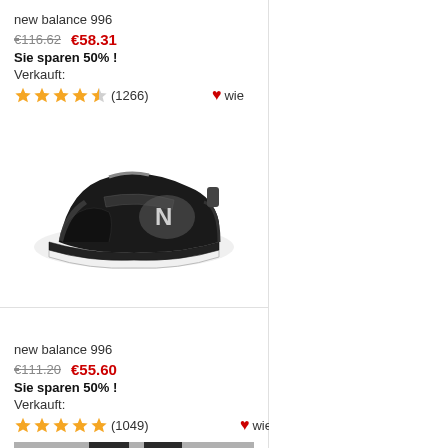new balance 996
€116.62   €58.31
Sie sparen 50% !
Verkauft:
(1266)  ♥wie
[Figure (photo): Black New Balance 996 children's sneaker with velcro strap and silver N logo, photographed on white background]
new balance 996
€111.20   €55.60
Sie sparen 50% !
Verkauft:
(1049)  ♥wie
[Figure (photo): Person wearing black pants and New Balance shoes, shown from waist down on outdoor pavement, black and white photo]